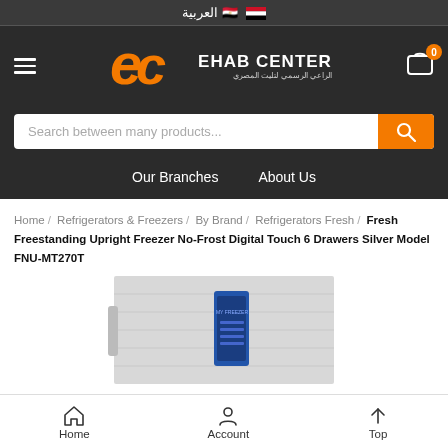العربية
[Figure (logo): EC Ehab Center logo with orange stylized letters and Arabic subtitle]
Search between many products...
Our Branches   About Us
Home / Refrigerators & Freezers / By Brand / Refrigerators Fresh / Fresh Freestanding Upright Freezer No-Frost Digital Touch 6 Drawers Silver Model FNU-MT270T
Fresh Freestanding Upright Freezer No-Frost Digital Touch 6 Drawers Silver Model FNU-MT270T
[Figure (photo): Silver upright freezer with blue digital touch panel, partial view]
Home   Account   Top